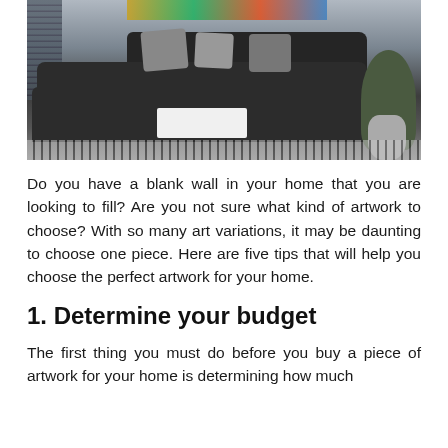[Figure (photo): A modern living room with a large dark grey sectional sofa with multiple grey pillows, a white coffee table in the center, colorful wall art above, a potted plant on the right, horizontal blinds on the left window, and a patterned floor rug.]
Do you have a blank wall in your home that you are looking to fill? Are you not sure what kind of artwork to choose? With so many art variations, it may be daunting to choose one piece. Here are five tips that will help you choose the perfect artwork for your home.
1. Determine your budget
The first thing you must do before you buy a piece of artwork for your home is determining how much